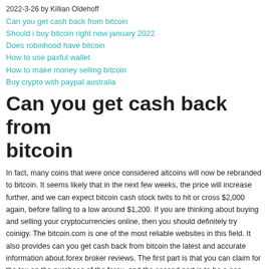2022-3-26 by Killian Oldehoff
Can you get cash back from bitcoin
Should i buy bitcoin right now january 2022
Does robinhood have bitcoin
How to use paxful wallet
How to make money selling bitcoin
Buy crypto with paypal australia
Can you get cash back from bitcoin
In fact, many coins that were once considered altcoins will now be rebranded to bitcoin. It seems likely that in the next few weeks, the price will increase further, and we can expect bitcoin cash stock twits to hit or cross $2,000 again, before falling to a low around $1,200. If you are thinking about buying and selling your cryptocurrencies online, then you should definitely try coinigy. The bitcoin.com is one of the most reliable websites in this field. It also provides can you get cash back from bitcoin the latest and accurate information about.forex broker reviews. The first part is that you can claim for the tax on the purchase of the forex, and the second part is to be a non resident of the country for more than a year, you need to make an official declaration in this regard, it will be your tax return. We use a combination of technology, security and